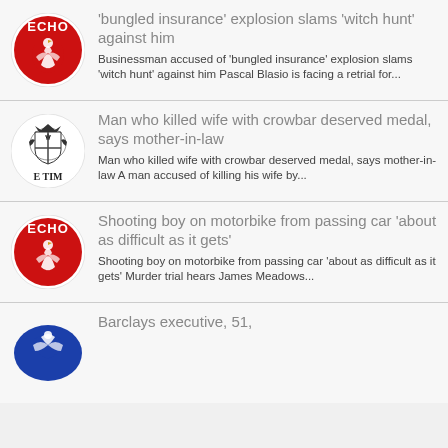'bungled insurance' explosion slams 'witch hunt' against him — Businessman accused of 'bungled insurance' explosion slams 'witch hunt' against him Pascal Blasio is facing a retrial for...
Man who killed wife with crowbar deserved medal, says mother-in-law — Man who killed wife with crowbar deserved medal, says mother-in-law A man accused of killing his wife by...
Shooting boy on motorbike from passing car 'about as difficult as it gets' — Shooting boy on motorbike from passing car 'about as difficult as it gets' Murder trial hears James Meadows...
Barclays executive, 51,